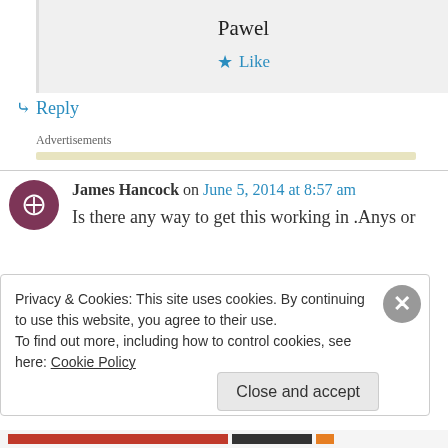Pawel
Like
Reply
Advertisements
James Hancock on June 5, 2014 at 8:57 am
Is there any way to get this working in .Anys or
Privacy & Cookies: This site uses cookies. By continuing to use this website, you agree to their use.
To find out more, including how to control cookies, see here: Cookie Policy
Close and accept